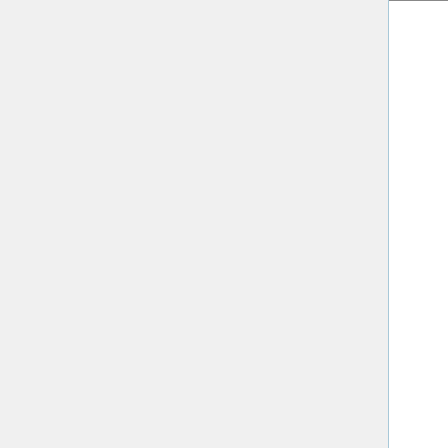| Property | Description |
| --- | --- |
| reportMissingFonts | hide button use to hide it page). They control pane warning mes permanently computer, if even if you t warning mes intrusive. |
| missingFontMessage | An HTML st used for the message (w reportMi is non-zero) replace the  message, a point to you instructions fonts, for ex |